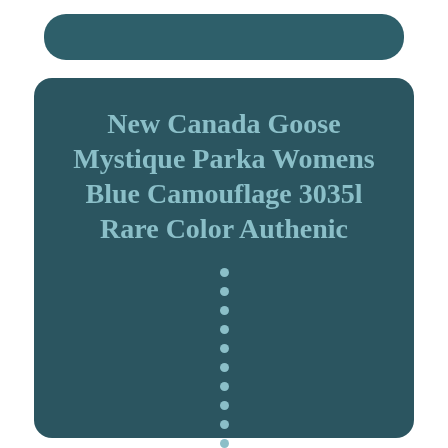New Canada Goose Mystique Parka Womens Blue Camouflage 3035l Rare Color Authenic
•
•
•
•
•
•
•
•
•
•
•
•